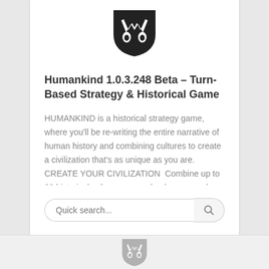[Figure (logo): Black shield/face logo mark for Humankind game]
Humankind 1.0.3.248 Beta – Turn-Based Strategy & Historical Game
HUMANKIND is a historical strategy game, where you'll be re-writing the entire narrative of human history and combining cultures to create a civilization that's as unique as you are.   CREATE YOUR CIVILIZATION  Combine up to 60 historical cultures as you lead your people from the Ancient to the Modern Age. From humble origins as [...]
♥ 6   👁 5874
Quick search...